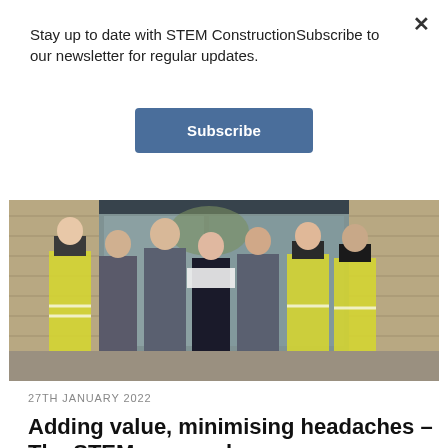Stay up to date with STEM ConstructionSubscribe to our newsletter for regular updates.
Subscribe
[Figure (photo): Group of seven people standing in front of a building entrance, some wearing high-visibility yellow vests and grey jackets]
27TH JANUARY 2022
Adding value, minimising headaches – The STEM approach